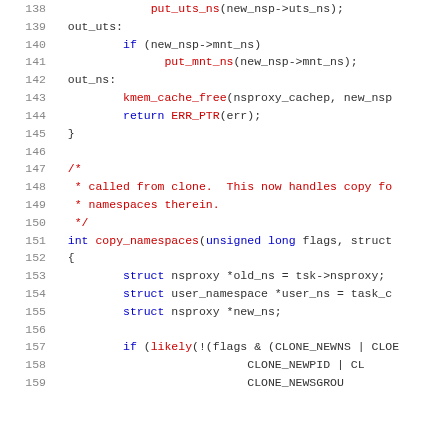Source code listing lines 138-159, C kernel code showing copy_namespaces function and error handling labels out_uts and out_ns